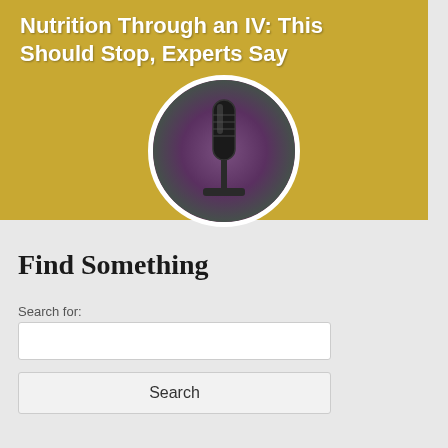Nutrition Through an IV: This Should Stop, Experts Say
[Figure (photo): Circular cropped photo of a microphone with dark metallic tones and purple/green background, displayed within a white-bordered circle on a gold banner background]
Find Something
Search for:
[Figure (screenshot): A white text input field for search]
Search